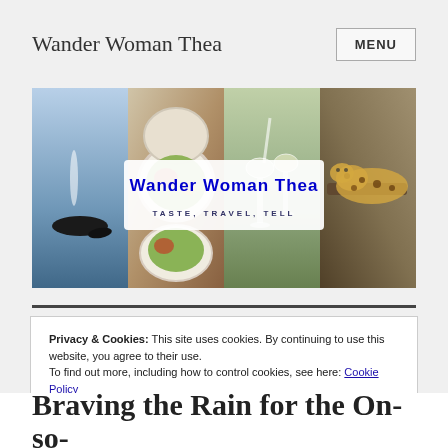Wander Woman Thea
[Figure (photo): Banner/header image for Wander Woman Thea blog showing collage of travel photos: whale spouting in ocean, food/salad dish, wine glasses being poured, leopard in tree. White overlay box in center with bold blue text 'Wander Woman Thea' and subtitle 'TASTE, TRAVEL, TELL'.]
Privacy & Cookies: This site uses cookies. By continuing to use this website, you agree to their use.
To find out more, including how to control cookies, see here: Cookie Policy
Close and accept
Braving the Rain for the On-so-